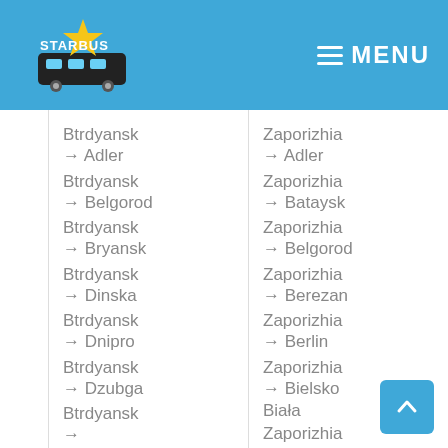STARBUS MENU
Btrdyansk → Adler
Btrdyansk → Belgorod
Btrdyansk → Bryansk
Btrdyansk → Dinska
Btrdyansk → Dnipro
Btrdyansk → Dzubga
Btrdyansk → Goryachiy
Zaporizhia → Adler
Zaporizhia → Bataysk
Zaporizhia → Belgorod
Zaporizhia → Berezan
Zaporizhia → Berlin
Zaporizhia → Bielsko Biała
Zaporizhia →